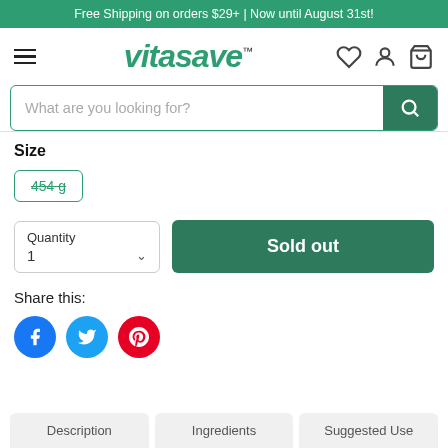Free Shipping on orders $29+ | Now until August 31st!
[Figure (logo): Vitasave logo with hamburger menu and nav icons (heart, person, cart)]
[Figure (screenshot): Search bar with placeholder 'What are you looking for?' and green search button]
Size
454 g
Quantity 1
Sold out
Share this:
[Figure (infographic): Social sharing icons: Facebook (blue), Twitter (light blue), Pinterest (red)]
Description | Ingredients | Suggested Use